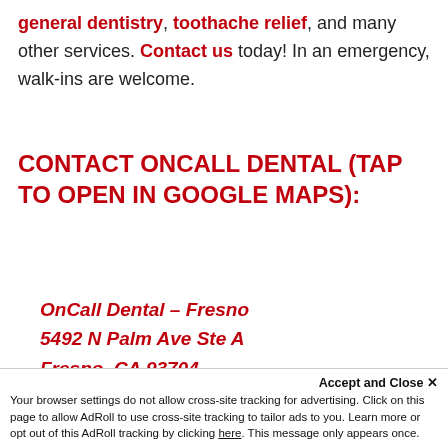general dentistry, toothache relief, and many other services. Contact us today! In an emergency, walk-ins are welcome.
CONTACT ONCALL DENTAL (TAP TO OPEN IN GOOGLE MAPS):
OnCall Dental – Fresno
5492 N Palm Ave Ste A
Fresno, CA 93704
559-462-8748
OnCall Dental – Hanford
Accept and Close ✕
Your browser settings do not allow cross-site tracking for advertising. Click on this page to allow AdRoll to use cross-site tracking to tailor ads to you. Learn more or opt out of this AdRoll tracking by clicking here. This message only appears once.